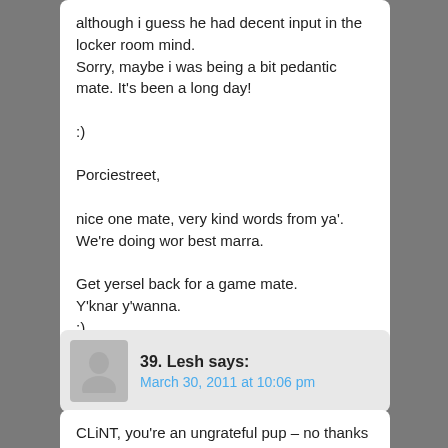although i guess he had decent input in the locker room mind.
Sorry, maybe i was being a bit pedantic mate. It's been a long day!

:)

Porciestreet,

nice one mate, very kind words from ya'. We're doing wor best marra.

Get yersel back for a game mate.
Y'knar y'wanna.
;)
39. Lesh says:
March 30, 2011 at 10:06 pm
CLiNT, you're an ungrateful pup – no thanks for the extra pound on your pay. That's it, it's a two year contract, take it or leave it!